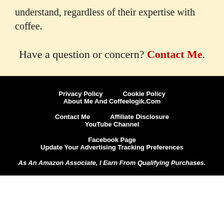understand, regardless of their expertise with coffee.
Have a question or concern? Contact Me.
Privacy Policy  Cookie Policy  About Me And Coffeelogik.Com  Contact Me  Affiliate Disclosure  YouTube Channel  Facebook Page  Update Your Advertising Tracking Preferences  As An Amazon Associate, I Earn From Qualifying Purchases.